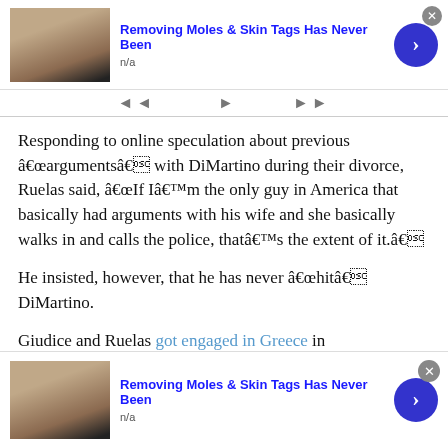[Figure (screenshot): Advertisement banner at top: image of person using toothbrush on face, title 'Removing Moles & Skin Tags Has Never Been', subtitle 'n/a', blue arrow button, close button]
Responding to online speculation about previous âargumentsâ with DiMartino during their divorce, Ruelas said, âIf Iâm the only guy in America that basically had arguments with his wife and she basically walks in and calls the police, thatâs the extent of it.â
He insisted, however, that he has never âhitâ DiMartino.
Giudice and Ruelas got engaged in Greece in
[Figure (screenshot): Advertisement banner at bottom: image of person using toothbrush on face, title 'Removing Moles & Skin Tags Has Never Been', subtitle 'n/a', blue arrow button, close button]